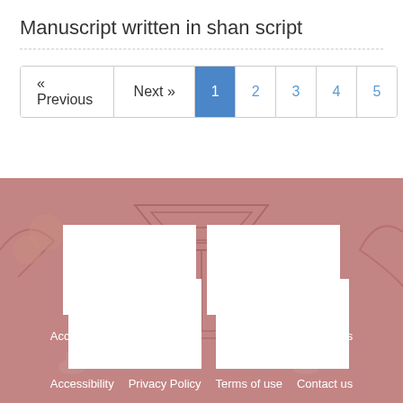Manuscript written in shan script
« Previous   Next »   1   2   3   4   5
[Figure (illustration): Decorative pink/mauve illustration of a traditional Southeast Asian temple or shrine with ornate carvings, figures carrying offerings, and floral motifs. Two white rectangular boxes overlay the lower portion. Footer links: Accessibility, Privacy Policy, Terms of use, Contact us.]
Accessibility   Privacy Policy   Terms of use   Contact us